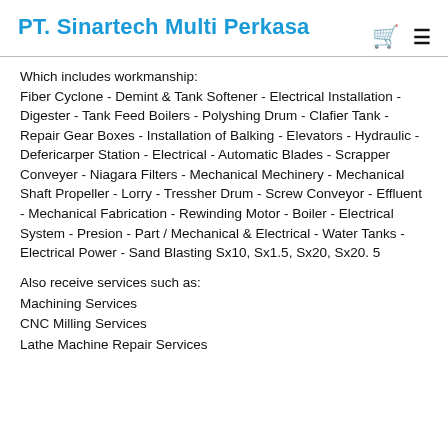PT. Sinartech Multi Perkasa
Which includes workmanship:
Fiber Cyclone - Demint & Tank Softener - Electrical Installation - Digester - Tank Feed Boilers - Polyshing Drum - Clafier Tank - Repair Gear Boxes - Installation of Balking - Elevators - Hydraulic - Defericarper Station - Electrical - Automatic Blades - Scrapper Conveyer - Niagara Filters - Mechanical Mechinery - Mechanical Shaft Propeller - Lorry - Tressher Drum - Screw Conveyor - Effluent - Mechanical Fabrication - Rewinding Motor - Boiler - Electrical System - Presion - Part / Mechanical & Electrical - Water Tanks - Electrical Power - Sand Blasting Sx10, Sx1.5, Sx20, Sx20. 5
Also receive services such as:
Machining Services
CNC Milling Services
Lathe Machine Repair Services